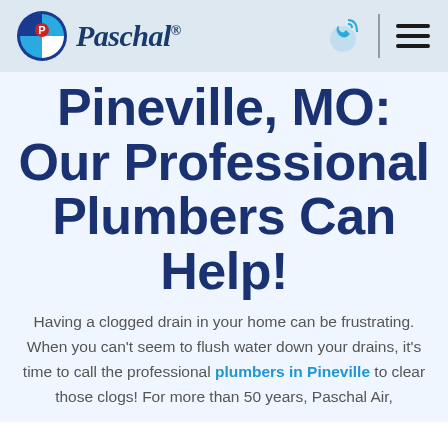Paschal
Pineville, MO: Our Professional Plumbers Can Help!
Having a clogged drain in your home can be frustrating. When you can't seem to flush water down your drains, it's time to call the professional plumbers in Pineville to clear those clogs! For more than 50 years, Paschal Air,